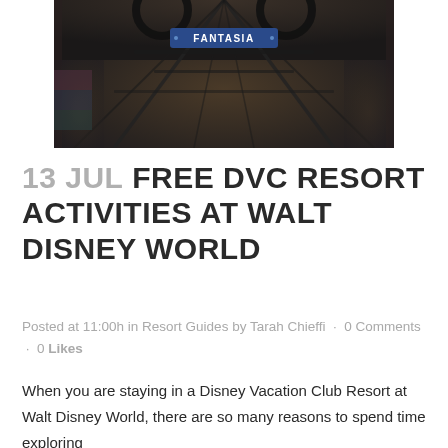[Figure (photo): Interior photo of Fantasia themed area at Walt Disney World, showing a large archway with Mickey Mouse ears silhouette and a blue Fantasia sign, dark atmospheric lighting with warm wood tones.]
13 JUL FREE DVC RESORT ACTIVITIES AT WALT DISNEY WORLD
Posted at 11:00h in Resort Guides by Tarah Chieffi · 0 Comments · 0 Likes
When you are staying in a Disney Vacation Club Resort at Walt Disney World, there are so many reasons to spend time exploring